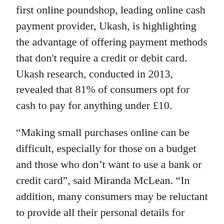first online poundshop, leading online cash payment provider, Ukash, is highlighting the advantage of offering payment methods that don't require a credit or debit card. Ukash research, conducted in 2013, revealed that 81% of consumers opt for cash to pay for anything under £10.
“Making small purchases online can be difficult, especially for those on a budget and those who don’t want to use a bank or credit card”, said Miranda McLean. “In addition, many consumers may be reluctant to provide all their personal details for small purchases, making this a potential barrier for online shoppers. Ukash solves all that by providing a way to shop online without having to give any personal information.